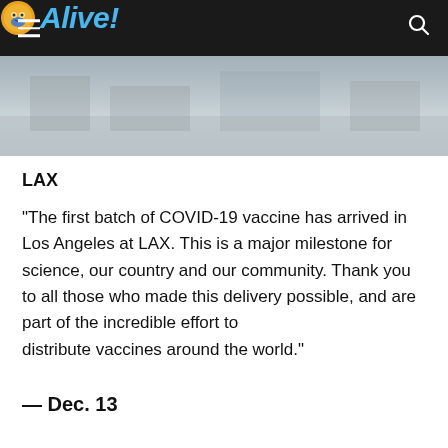Alive!
[Figure (photo): Partial image of what appears to be an airport or logistics facility, shown as a faded/muted photo strip]
LAX
“The first batch of COVID-19 vaccine has arrived in Los Angeles at LAX. This is a major milestone for science, our country and our community. Thank you to all those who made this delivery possible, and are part of the incredible effort to distribute vaccines around the world.”
— Dec. 13